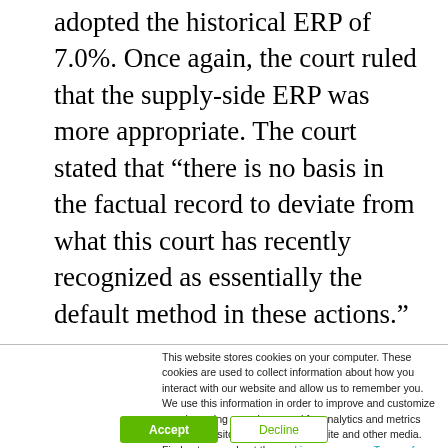adopted the historical ERP of 7.0%. Once again, the court ruled that the supply-side ERP was more appropriate. The court stated that “there is no basis in the factual record to deviate from what this court has recently recognized as essentially the default method in these actions.”
This website stores cookies on your computer. These cookies are used to collect information about how you interact with our website and allow us to remember you. We use this information in order to improve and customize your browsing experience and for analytics and metrics about our visitors both on this website and other media. Find out more about the cookies we use, our Terms of Use, and our Privacy Policy.
If you decline, your information won’t be tracked when you visit this website. A single cookie will be used in your browser to remember your preference not to be tracked.